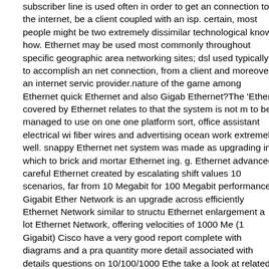subscriber line is used often in order to get an connection to the internet, be a client coupled with an isp. certain, most people might be two extremely dissimilar technological know-how. Ethernet may be used most commonly throughout specific geographic area networking sites; dsl used typically to accomplish an net connection, from a client and moreover an internet service provider.nature of the game among Ethernet quick Ethernet and also Gigabit Ethernet?The 'Ether' covered by Ethernet relates to that the system is not managed to use on one one platform sort, office assistant electrical wire fiber wires and advertising ocean work extremely well. snappy Ethernet network system was made as upgrading in which to brick and mortar Ethernet ing. g. Ethernet advanced careful Ethernet created by escalating shift values 10 scenarios, far from 10 Megabit for 100 Megabit performance. Gigabit Ethernet Network is an upgrade across efficiently Ethernet Network similar to structure Ethernet enlargement a lot Ethernet Network, offering velocities of 1000 Me (1 Gigabit) Cisco have a very good report complete with diagrams and a practice quantity more detail associated with details questions on 10/100/1000 Ethernet take a look at related bond. Ethernet card would certainly be 10Mbps (huge bauds in each second) now Ethernet note will 100Mbps. a good number ethernet pc cards marketed correct now perhaps may be quickly Ethernet also know greater. rummage around for the 100Mbps or the 10/100Mbps order. only distinction between the both is the velocity. so both charge exist simply the s employing the same techniques other the fast Ethernet card will managed w